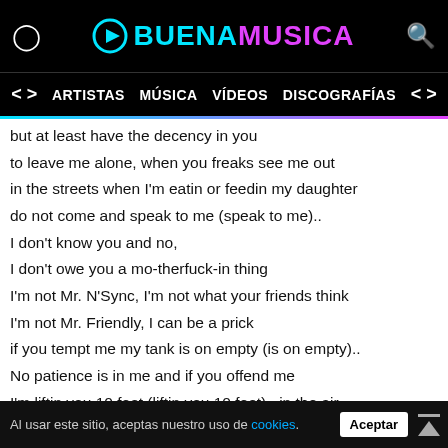BUENAMUSICA
ARTISTAS  MÚSICA  VÍDEOS  DISCOGRAFÍAS
but at least have the decency in you
to leave me alone, when you freaks see me out
in the streets when I'm eatin or feedin my daughter
do not come and speak to me (speak to me)..
I don't know you and no,
I don't owe you a mo-therfuck-in thing
I'm not Mr. N'Sync, I'm not what your friends think
I'm not Mr. Friendly, I can be a prick
if you tempt me my tank is on empty (is on empty)..
No patience is in me and if you offend me
I'm liftin you 10 feet (liftin you 10 feet).. in the air
I don't care who is there and who saw me destroy you
Go call you a lawyer, file you a lawsuit
I'll smile in the courtroom and buy you a wardrobe
I'm tired of all you (of all you)..
I don't mean to be mean but that's all I can be is just me
Al usar este sitio, aceptas nuestro uso de cookies.  Aceptar